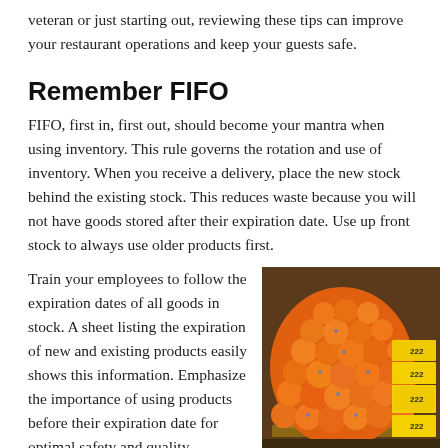veteran or just starting out, reviewing these tips can improve your restaurant operations and keep your guests safe.
Remember FIFO
FIFO, first in, first out, should become your mantra when using inventory. This rule governs the rotation and use of inventory. When you receive a delivery, place the new stock behind the existing stock. This reduces waste because you will not have goods stored after their expiration date. Use up front stock to always use older products first.
Train your employees to follow the expiration dates of all goods in stock. A sheet listing the expiration of new and existing products easily shows this information. Emphasize the importance of using products before their expiration date for optimal safety and quality.
[Figure (photo): A large pallet stacked high with orange citrus fruits, with yellow boxes labeled '222' stacked on the side, in a warehouse setting.]